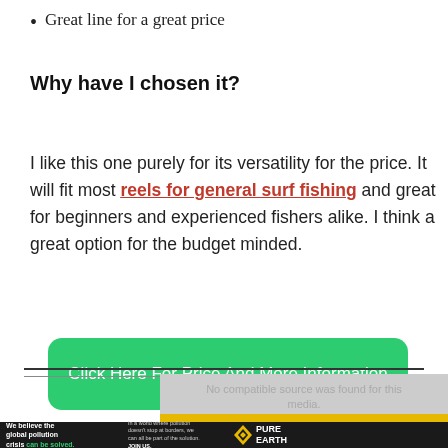Great line for a great price
Why have I chosen it?
I like this one purely for its versatility for the price. It will fit most reels for general surf fishing and great for beginners and experienced fishers alike. I think a great option for the budget minded.
[Figure (other): Green call-to-action button with text: Click Here For Price And More Information]
[Figure (other): Video player area showing 'No compatible source was found for this media.' with a yellow progress bar and a Pure Earth advertisement banner at the bottom.]